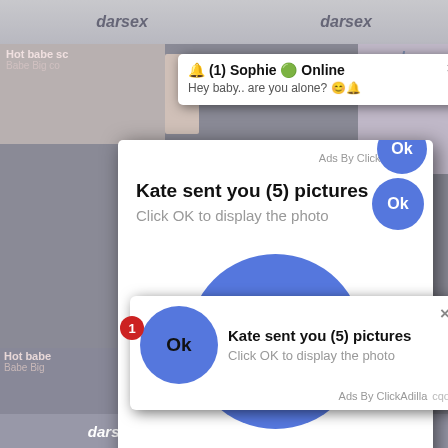[Figure (screenshot): Screenshot of a web browser showing adult content website with multiple advertisement popups. Background shows blurred adult content thumbnails with 'darsex' branding. Two overlapping popup dialogs both reading 'Kate sent you (5) pictures / Click OK to display the photo' with blue OK buttons. A smaller notification at top reads '(1) Sophie Online / Hey baby.. are you alone?' All popups attributed to ClickAdilla ad network.]
darsex
🔔 (1) Sophie 🟢 Online
Hey baby.. are you alone? 😊🔔
Ads By ClickAdilla
Kate sent you (5) pictures
Click OK to display the photo
Ok
Ok
cqo
Kate sent you (5) pictures
Click OK to display the photo
Ok
Ads By ClickAdilla  cqo
darsex
darsex
Hot babe sc
Babe Big co
Hot babe
Babe Big
arse